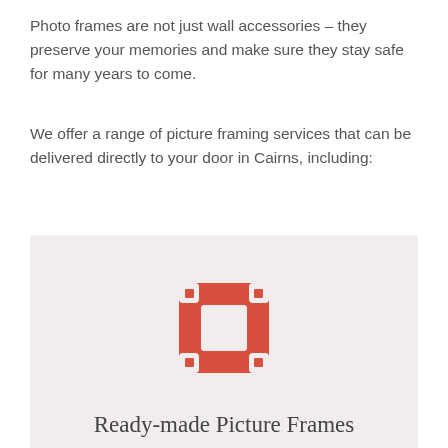Photo frames are not just wall accessories – they preserve your memories and make sure they stay safe for many years to come.
We offer a range of picture framing services that can be delivered directly to your door in Cairns, including:
[Figure (logo): Red picture frame icon logo with white cutout square in center, on a light gray/beige background, with text 'Ready-made Picture Frames' below the icon]